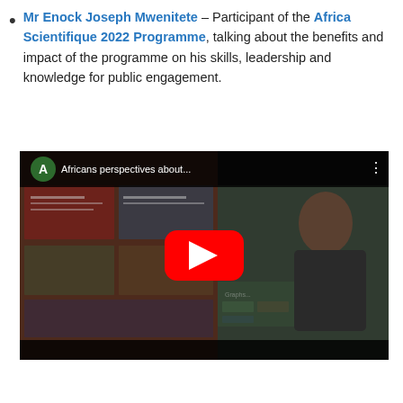Mr Enock Joseph Mwenitete – Participant of the Africa Scientifique 2022 Programme, talking about the benefits and impact of the programme on his skills, leadership and knowledge for public engagement.
[Figure (screenshot): YouTube video thumbnail showing a man presenting in front of posters. The video title reads 'Africans perspectives about...' with a green avatar 'A' and a red YouTube play button in the center.]